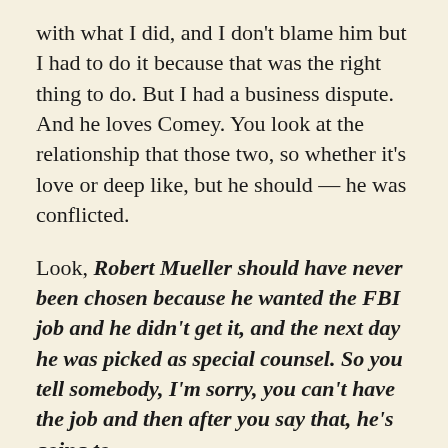with what I did, and I don't blame him but I had to do it because that was the right thing to do. But I had a business dispute. And he loves Comey. You look at the relationship that those two, so whether it's love or deep like, but he should — he was conflicted.
Look, Robert Mueller should have never been chosen because he wanted the FBI job and he didn't get it, and the next day he was picked as special counsel. So you tell somebody, I'm sorry, you can't have the job and then after you say that, he's going to